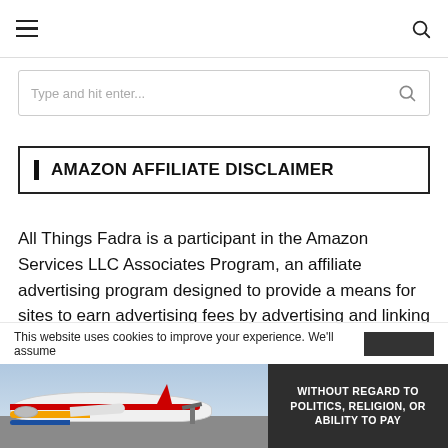[Navigation bar with hamburger menu and search icon]
Type and hit enter...
AMAZON AFFILIATE DISCLAIMER
All Things Fadra is a participant in the Amazon Services LLC Associates Program, an affiliate advertising program designed to provide a means for sites to earn advertising fees by advertising and linking
This website uses cookies to improve your experience. We'll assume
[Figure (photo): Cargo airplane on tarmac being loaded, with colorful livery in red, yellow, and blue. Adjacent dark banner reads WITHOUT REGARD TO POLITICS, RELIGION, OR ABILITY TO PAY.]